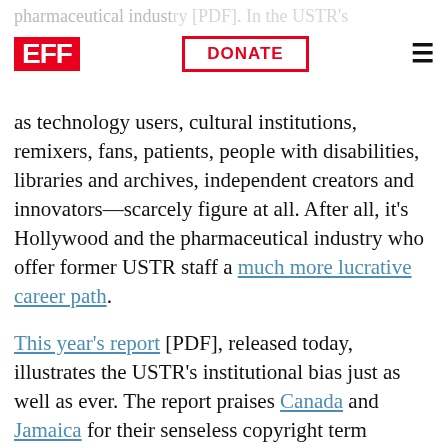EFF | DONATE
as technology users, cultural institutions, remixers, fans, patients, people with disabilities, libraries and archives, independent creators and innovators—scarcely figure at all. After all, it's Hollywood and the pharmaceutical industry who offer former USTR staff a much more lucrative career path.
This year's report [PDF], released today, illustrates the USTR's institutional bias just as well as ever. The report praises Canada and Jamaica for their senseless copyright term extensions of 2015, but gives no recognition to changes that have benefited users, such as the overdue adoption of new copyright flexibilities in Slovakia, and new protections for Internet intermediaries in Thailand (in fact these are criticized as creating a "a lack of